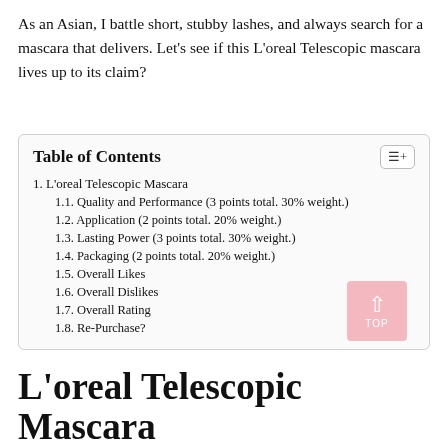As an Asian, I battle short, stubby lashes, and always search for a mascara that delivers. Let's see if this L'oreal Telescopic mascara lives up to its claim?
| Table of Contents |
| --- |
| 1. L'oreal Telescopic Mascara |
| 1.1. Quality and Performance (3 points total. 30% weight.) |
| 1.2. Application (2 points total. 20% weight.) |
| 1.3. Lasting Power (3 points total. 30% weight.) |
| 1.4. Packaging (2 points total. 20% weight.) |
| 1.5. Overall Likes |
| 1.6. Overall Dislikes |
| 1.7. Overall Rating |
| 1.8. Re-Purchase? |
L'oreal Telescopic Mascara